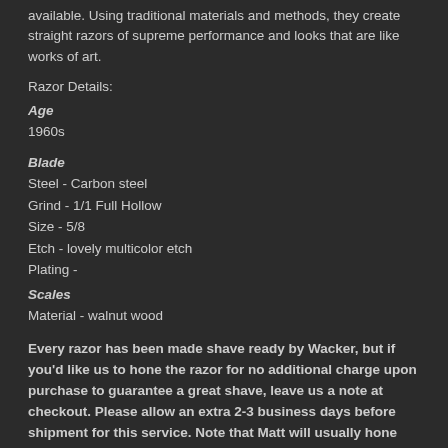available. Using traditional materials and methods, they create straight razors of supreme performance and looks that are like works of art.
Razor Details:
Age
1960s
Blade
Steel - Carbon steel
Grind - 1/1 Full Hollow
Size - 5/8
Etch - lovely multicolor etch
Plating -
Scales
Material - walnut wood
Every razor has been made shave ready by Wacker, but if you'd like us to hone the razor for no additional charge upon purchase to guarantee a great shave, leave us a note at checkout. Please allow an extra 2-3 business days before shipment for this service. Note that Matt will usually hone any razor with tape on the spine, so if you'd like a razor honed without tape please make us aware.